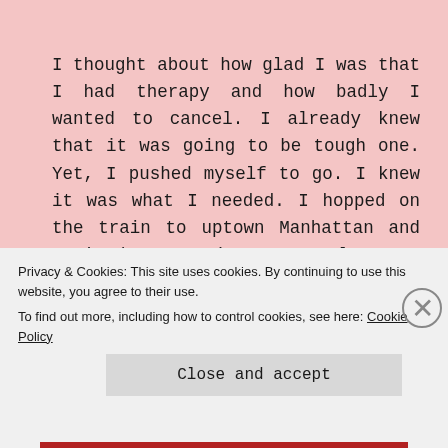I thought about how glad I was that I had therapy and how badly I wanted to cancel. I already knew that it was going to be tough one. Yet, I pushed myself to go. I knew it was what I needed. I hopped on the train to uptown Manhattan and arrived 40 minutes early, as someone with anxiety often does, and laid down in Central Park until it was actually time for me to be there. As I laid down it started to drizzle and I thought about how the sky is crying because I am crying. It felt like I was symbiotic with nature in that moment. Both of us rinsing our pain with water. I
Privacy & Cookies: This site uses cookies. By continuing to use this website, you agree to their use.
To find out more, including how to control cookies, see here: Cookie Policy
Close and accept